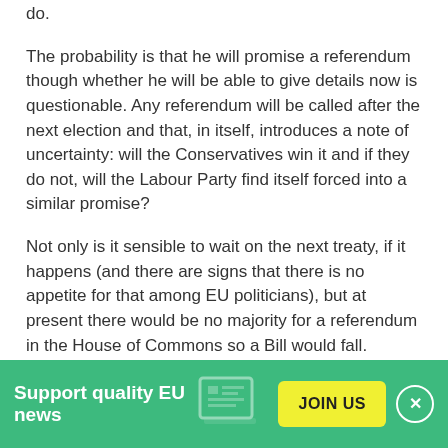do.
The probability is that he will promise a referendum though whether he will be able to give details now is questionable. Any referendum will be called after the next election and that, in itself, introduces a note of uncertainty: will the Conservatives win it and if they do not, will the Labour Party find itself forced into a similar promise?
Not only is it sensible to wait on the next treaty, if it happens (and there are signs that there is no appetite for that among EU politicians), but at present there would be no majority for a referendum in the House of Commons so a Bill would fall.
[Figure (infographic): Green banner at the bottom with 'Support quality EU news' text on the left, a yellow 'JOIN US' button, a decorative EU-related icon, and a close (X) button on the right.]